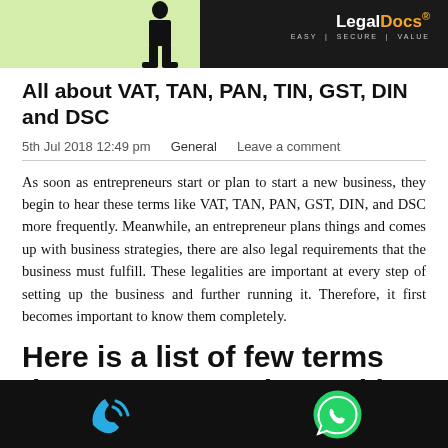[Figure (screenshot): LegalDocs website banner with person silhouette on green background and LegalDocs logo on dark background. Tagline: EASY | SECURE | VALUE]
All about VAT, TAN, PAN, TIN, GST, DIN and DSC
5th Jul 2018 12:49 pm   General   Leave a comment
As soon as entrepreneurs start or plan to start a new business, they begin to hear these terms like VAT, TAN, PAN, GST, DIN, and DSC more frequently. Meanwhile, an entrepreneur plans things and comes up with business strategies, there are also legal requirements that the business must fulfill. These legalities are important at every step of setting up the business and further running it. Therefore, it first becomes important to know them completely.
Here is a list of few terms that are commonly used in the
[Figure (other): Bottom navigation bar with phone call icon and WhatsApp icon on black background]